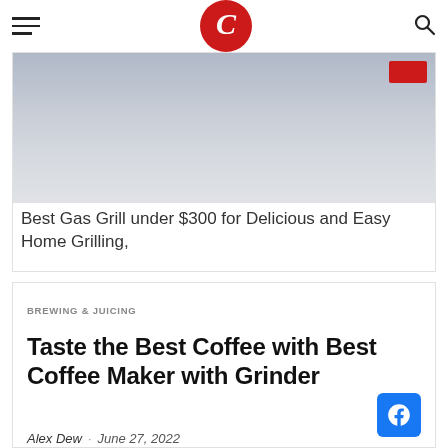C (logo) — navigation header with hamburger menu and search icon
[Figure (photo): Blurred greyish-blue photo of a gas grill scene with a red badge/button in top-right corner]
Best Gas Grill under $300 for Delicious and Easy Home Grilling,
BREWING & JUICING
Taste the Best Coffee with Best Coffee Maker with Grinder
Alex Dew · June 27, 2022